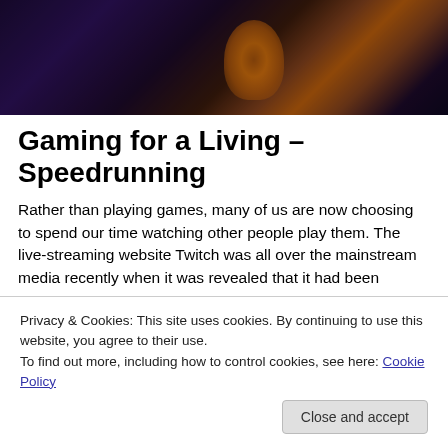[Figure (photo): Dark stage photo with purple and orange lighting, silhouettes of people or equipment visible in a concert/event setting]
Gaming for a Living – Speedrunning
Rather than playing games, many of us are now choosing to spend our time watching other people play them. The live-streaming website Twitch was all over the mainstream media recently when it was revealed that it had been
Privacy & Cookies: This site uses cookies. By continuing to use this website, you agree to their use.
To find out more, including how to control cookies, see here: Cookie Policy
Close and accept